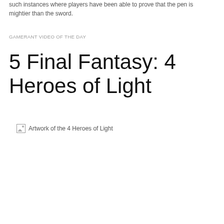such instances where players have been able to prove that the pen is mightier than the sword.
GAMERANT VIDEO OF THE DAY
5 Final Fantasy: 4 Heroes of Light
[Figure (photo): Artwork of the 4 Heroes of Light (broken image placeholder)]